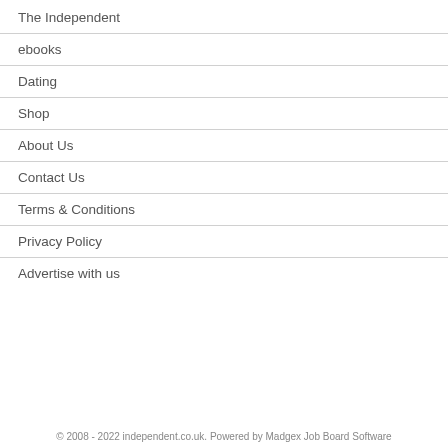The Independent
ebooks
Dating
Shop
About Us
Contact Us
Terms & Conditions
Privacy Policy
Advertise with us
© 2008 - 2022 independent.co.uk. Powered by Madgex Job Board Software